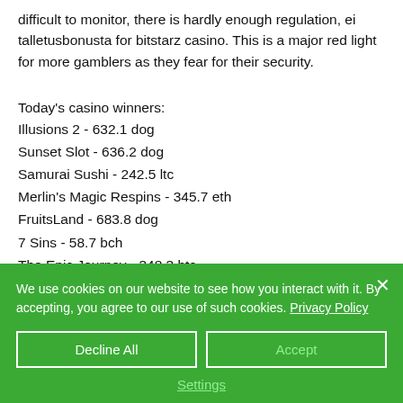difficult to monitor, there is hardly enough regulation, ei talletusbonusta for bitstarz casino. This is a major red light for more gamblers as they fear for their security.
Today's casino winners:
Illusions 2 - 632.1 dog
Sunset Slot - 636.2 dog
Samurai Sushi - 242.5 ltc
Merlin's Magic Respins - 345.7 eth
FruitsLand - 683.8 dog
7 Sins - 58.7 bch
The Epic Journey - 348.3 btc
We use cookies on our website to see how you interact with it. By accepting, you agree to our use of such cookies. Privacy Policy
Decline All
Accept
Settings